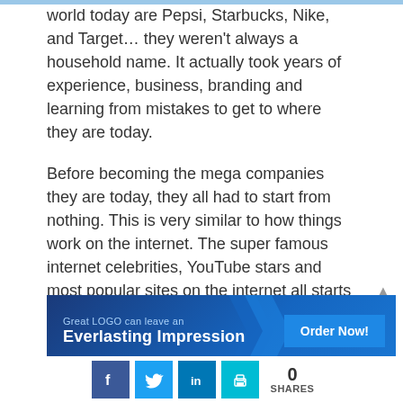world today are Pepsi, Starbucks, Nike, and Target… they weren't always a household name. It actually took years of experience, business, branding and learning from mistakes to get to where they are today.
Before becoming the mega companies they are today, they all had to start from nothing. This is very similar to how things work on the internet. The super famous internet celebrities, YouTube stars and most popular sites on the internet all starts with zero site visitors, social followers, and revenue.
[Figure (infographic): Banner advertisement reading 'Great LOGO can leave an Everlasting Impression' with an 'Order Now!' button on a blue gradient background with chevron design]
[Figure (infographic): Social sharing bar with Facebook, Twitter, LinkedIn, and print icons, showing 0 SHARES]